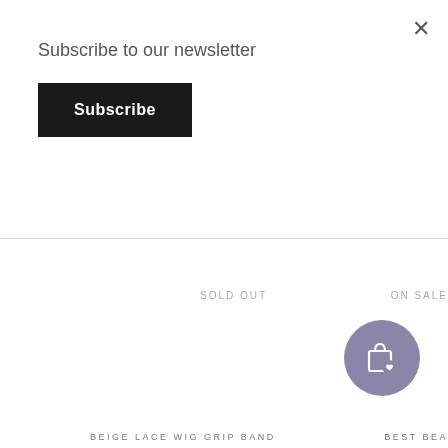×
Subscribe to our newsletter
Subscribe
SOLD OUT
ON SALE
[Figure (illustration): Purple/mauve circular icon with a shopping bag and heart symbol]
BEIGE LACE WIG GRIP BAND
BEST BEA